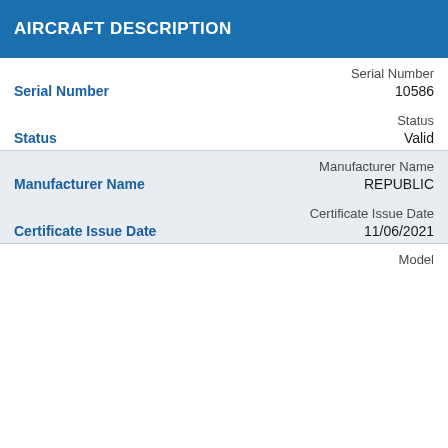AIRCRAFT DESCRIPTION
| Serial Number |  | 10586 |
| Status |  | Valid |
| Manufacturer Name |  | REPUBLIC |
| Certificate Issue Date |  | 11/06/2021 |
| Model |  |  |